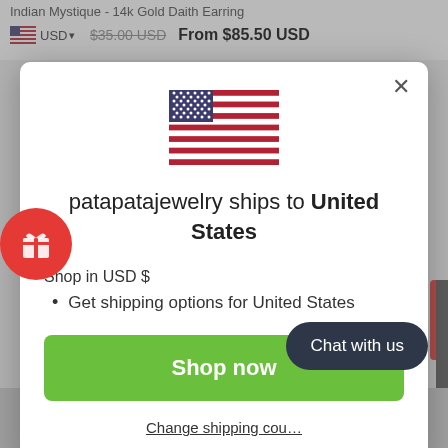Indian Mystique - 14k Gold Daith Earring
USD
$35.00 USD From $85.50 USD
[Figure (illustration): US flag emoji/icon in modal dialog]
patapatajewelry ships to United States
Shop in USD $
Get shipping options for United States
Shop now
Change shipping country
Chat with us
Happy Customers